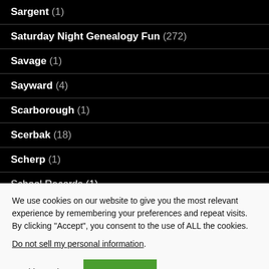Sargent (1)
Saturday Night Genealogy Fun (272)
Savage (1)
Sayward (4)
Scarborough (1)
Scerbak (18)
Scherp (1)
School Records (1)
We use cookies on our website to give you the most relevant experience by remembering your preferences and repeat visits. By clicking “Accept”, you consent to the use of ALL the cookies.
Do not sell my personal information.
Cookie settings   ACCEPT